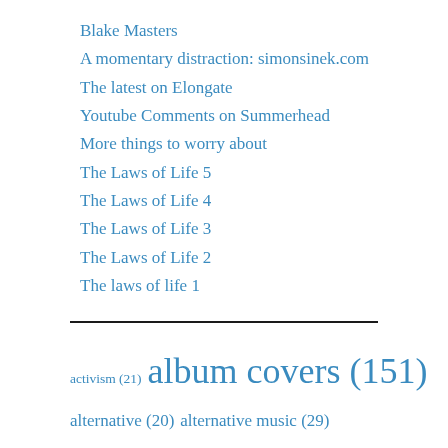Blake Masters
A momentary distraction: simonsinek.com
The latest on Elongate
Youtube Comments on Summerhead
More things to worry about
The Laws of Life 5
The Laws of Life 4
The Laws of Life 3
The Laws of Life 2
The laws of life 1
activism (21)  album covers (151)  alternative (20)  alternative music (29)